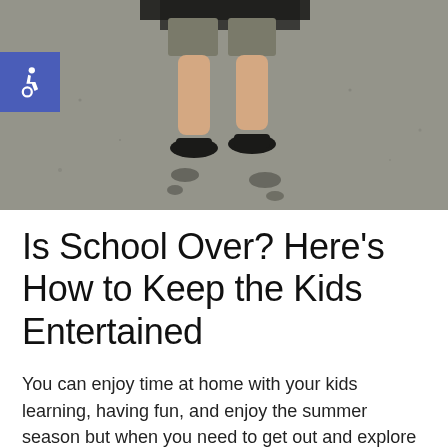[Figure (photo): Child's legs from knees down wearing shorts and black sandals, walking on a textured asphalt surface with wet footprints visible behind them. A dark bag or backpack is partially visible at the top.]
Is School Over? Here’s How to Keep the Kids Entertained
You can enjoy time at home with your kids learning, having fun, and enjoy the summer season but when you need to get out and explore you can do that too!